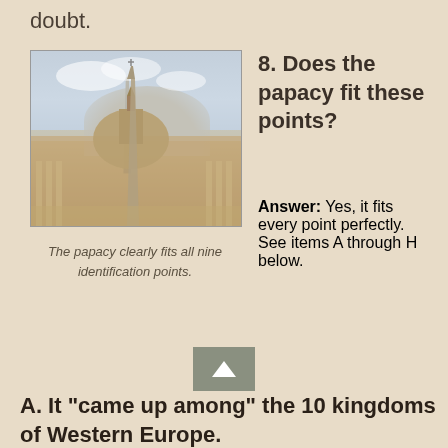doubt.
[Figure (photo): Photo of St. Peter's Basilica in Vatican City with an obelisk in the foreground]
The papacy clearly fits all nine identification points.
8. Does the papacy fit these points?
Answer: Yes, it fits every point perfectly. See items A through H below.
A. It "came up among" the 10 kingdoms of Western Europe.